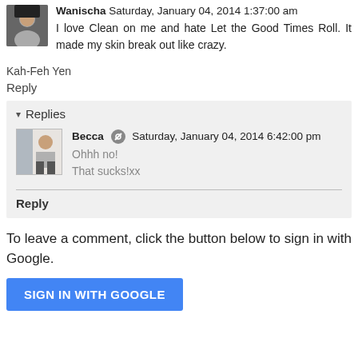Wanischa Saturday, January 04, 2014 1:37:00 am
I love Clean on me and hate Let the Good Times Roll. It made my skin break out like crazy.
Kah-Feh Yen
Reply
▾ Replies
Becca Saturday, January 04, 2014 6:42:00 pm
Ohhh no!
That sucks!xx
Reply
To leave a comment, click the button below to sign in with Google.
SIGN IN WITH GOOGLE